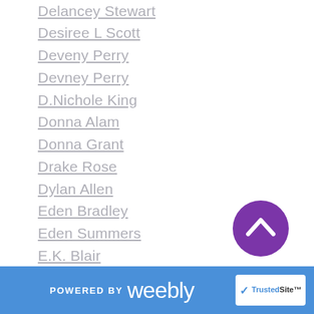Delancey Stewart
Desiree L Scott
Deveny Perry
Devney Perry
D.Nichole King
Donna Alam
Donna Grant
Drake Rose
Dylan Allen
Eden Bradley
Eden Summers
E.K. Blair
Elena Matthews
Elena M Reyes
Elinor Gray
Elisabeth Naughton
Elisa Dane
[Figure (other): Purple circular scroll-to-top button with upward chevron arrow]
POWERED BY weebly | TrustedSite